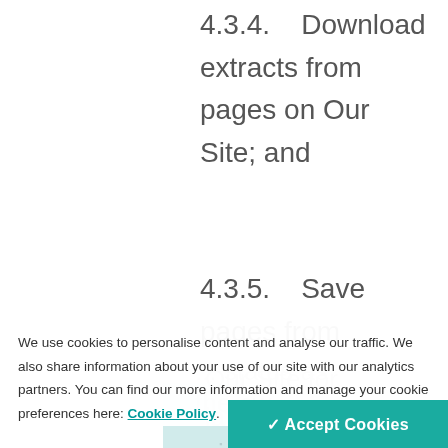4.3.4.    Download extracts from pages on Our Site; and
4.3.5.    Save pages from Our Site for later and/or view them offline in respect of Our Site and not to undermine its status as the owner and/or author of the
We use cookies to personalise content and analyse our traffic. We also share information about your use of our site with our analytics partners. You can find our more information and manage your cookie preferences here: Cookie Policy.